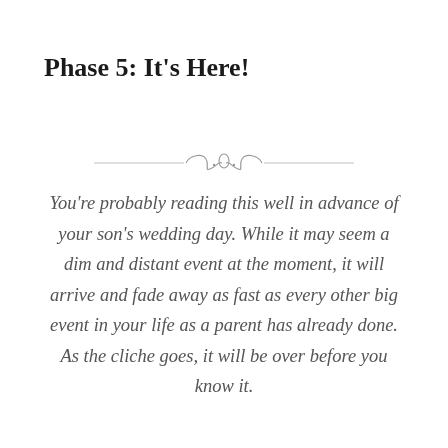Phase 5: It’s Here!
[Figure (illustration): Decorative ornamental flourish divider with scrollwork and curls in grey]
You’re probably reading this well in advance of your son’s wedding day. While it may seem a dim and distant event at the moment, it will arrive and fade away as fast as every other big event in your life as a parent has already done. As the cliche goes, it will be over before you know it.